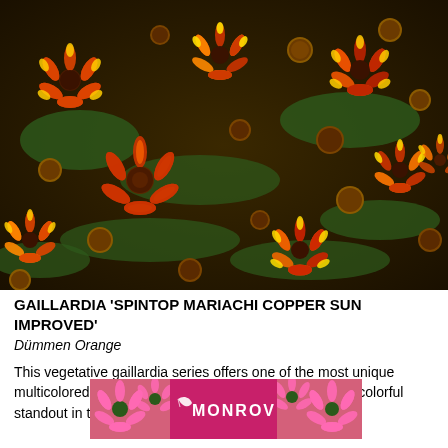[Figure (photo): Close-up photograph of many Gaillardia 'Spintop Mariachi Copper Sun Improved' flowers showing red, orange, and yellow blooms with brown seed heads against green foliage]
GAILLARDIA 'SPINTOP MARIACHI COPPER SUN IMPROVED'
Dümmen Orange
[Figure (logo): Monrovia nursery logo banner with pink echinacea flowers on either side and white MONROVIA text with leaf icon on pink/magenta background]
This vegetative gaillardia series offers one of the most unique multicolored blooms you'll find for the full sun, with its [Monrovia banner] a colorful standout in the trial bed and flowered prolifically. This